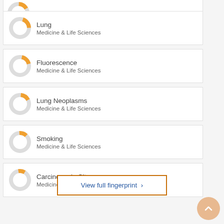Lung — Medicine & Life Sciences
Fluorescence — Medicine & Life Sciences
Lung Neoplasms — Medicine & Life Sciences
Smoking — Medicine & Life Sciences
Carcinoma in Situ — Medicine & Life Sciences
View full fingerprint >
[Figure (other): Scroll-to-top circular button with upward chevron arrow, light orange background]